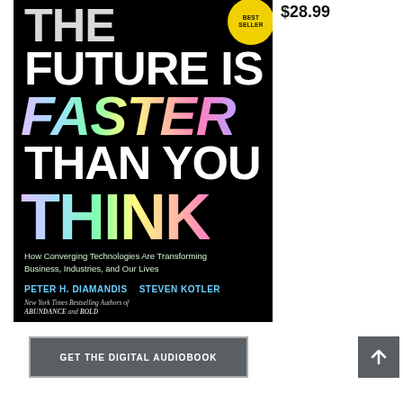[Figure (photo): Book cover of 'The Future Is Faster Than You Think' by Peter H. Diamandis and Steven Kotler. Black background with multicolor holographic text for 'FASTER' and 'THINK'. Subtitle: How Converging Technologies Are Transforming Business, Industries, and Our Lives. Yellow bestseller badge in top right corner.]
$28.99
GET THE DIGITAL AUDIOBOOK